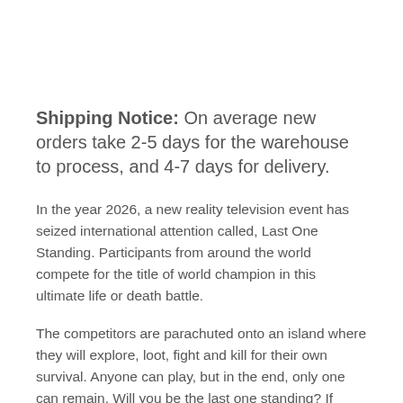Shipping Notice: On average new orders take 2-5 days for the warehouse to process, and 4-7 days for delivery.
In the year 2026, a new reality television event has seized international attention called, Last One Standing. Participants from around the world compete for the title of world champion in this ultimate life or death battle.
The competitors are parachuted onto an island where they will explore, loot, fight and kill for their own survival. Anyone can play, but in the end, only one can remain. Will you be the last one standing? If you're